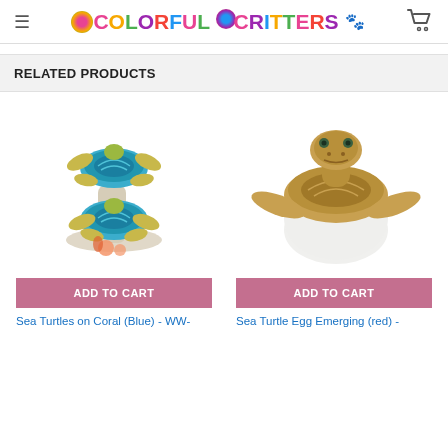Colorful Critters
RELATED PRODUCTS
[Figure (photo): Sea turtles figurine on coral, two blue-shelled turtles with coral base and flower decorations]
[Figure (photo): Sea turtle hatchling emerging from a white egg, brown turtle with head and flippers extended]
ADD TO CART
ADD TO CART
Sea Turtles on Coral (Blue) - WW-
Sea Turtle Egg Emerging (red) -